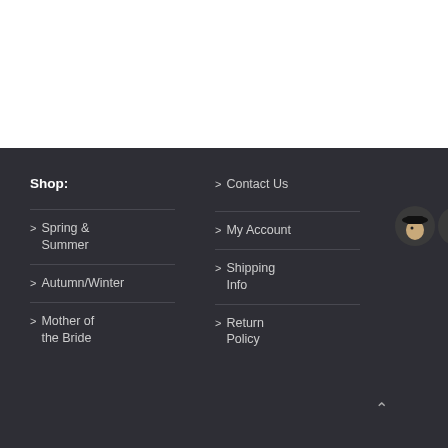Shop:
> Spring & Summer
> Autumn/Winter
> Mother of the Bride
> Contact Us
> My Account
> Shipping Info
> Return Policy
[Figure (photo): Three circular portrait photos of women wearing decorative hats/fascinators on dark background]